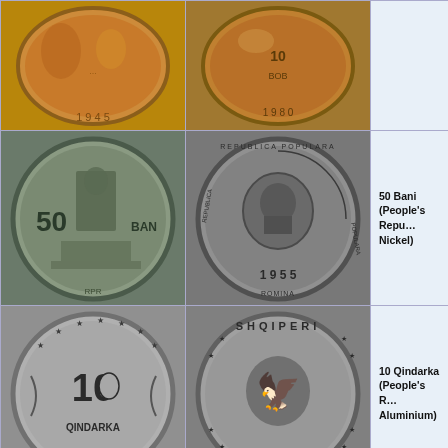[Figure (photo): Coin obverse - copper colored coin, date partially visible (1945?)]
[Figure (photo): Coin reverse - copper colored coin with text, 10 BOB or similar]
[Figure (photo): 50 Bani coin obverse - shows figure at work, '50 BAN' text, nickel]
[Figure (photo): 50 Bani coin reverse - REPUBLICA POPULARA ROMANA coat of arms, 1955]
50 Bani (People's Republic of Romania, Nickel)
[Figure (photo): 10 Qindarka coin obverse - '10 QINDARKA' text with wreath, aluminium]
[Figure (photo): 10 Qindarka coin reverse - SHQIPERI eagle emblem, stars, 1964]
10 Qindarka (People's Republic of Albania, Aluminium)
[Figure (photo): Coin obverse - silver colored coin with crown and lion emblem]
[Figure (photo): Coin reverse - silver coin with portrait and Arabic/Persian script]